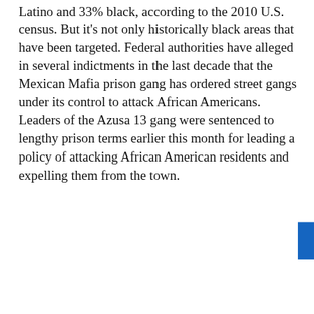Latino and 33% black, according to the 2010 U.S. census. But it's not only historically black areas that have been targeted. Federal authorities have alleged in several indictments in the last decade that the Mexican Mafia prison gang has ordered street gangs under its control to attack African Americans. Leaders of the Azusa 13 gang were sentenced to lengthy prison terms earlier this month for leading a policy of attacking African American residents and expelling them from the town.
Similar attacks Highland Park and Wilmington case, sheriff's d been acting on
25)
George J. Borja Jeffrey Grogge Gordon H. Ha
[Figure (other): Email subscription popup overlay with dark background. Title: 'CounterPunch delivered to your inbox.' Subtitle: 'Get news updates from CounterPunch'. Email input field with placeholder 'Enter your email here...' and an orange 'Sign Up' button. A close (×) button in the top right corner.]